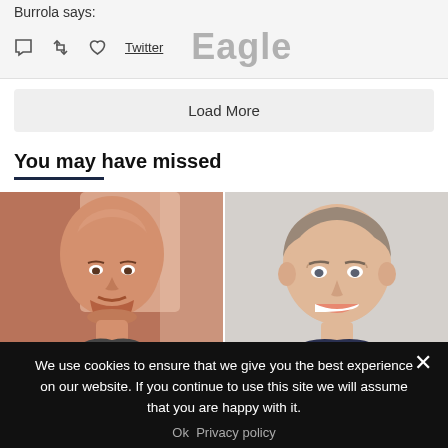Burrola says:
Twitter
You may have missed
[Figure (photo): Headshot of a bald man with a goatee/beard, reddish-brown background]
[Figure (photo): Headshot of a smiling middle-aged man with short gray-brown hair, light background]
We use cookies to ensure that we give you the best experience on our website. If you continue to use this site we will assume that you are happy with it.
Ok  Privacy policy